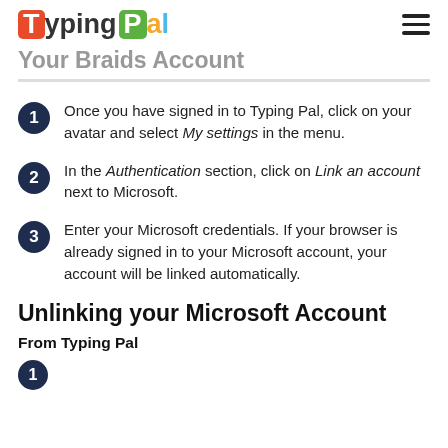TypingPal
Your Braids Account
Once you have signed in to Typing Pal, click on your avatar and select My settings in the menu.
In the Authentication section, click on Link an account next to Microsoft.
Enter your Microsoft credentials. If your browser is already signed in to your Microsoft account, your account will be linked automatically.
Unlinking your Microsoft Account
From Typing Pal